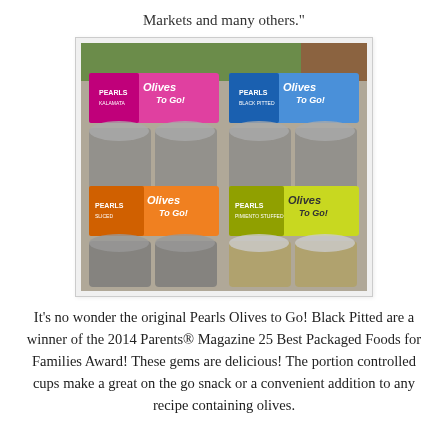Markets and many others."
[Figure (photo): Photo of four varieties of Pearls Olives to Go! products — Kalamata, Black Pitted, Sliced, and Pimiento Stuffed — each in multi-pack clear cup containers with yellow packaging, arranged on a concrete outdoor surface.]
It's no wonder the original Pearls Olives to Go! Black Pitted are a winner of the 2014 Parents® Magazine 25 Best Packaged Foods for Families Award!  These gems are delicious!  The portion controlled cups make a great on the go snack or a convenient addition to any recipe containing olives.